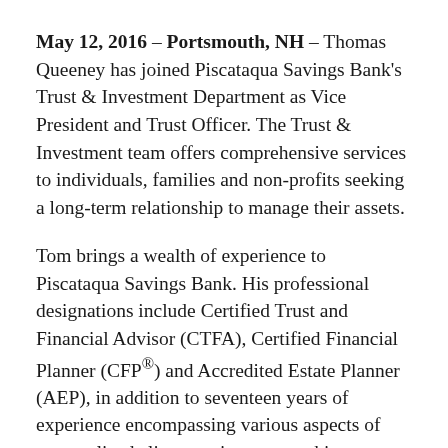May 12, 2016 – Portsmouth, NH – Thomas Queeney has joined Piscataqua Savings Bank's Trust & Investment Department as Vice President and Trust Officer. The Trust & Investment team offers comprehensive services to individuals, families and non-profits seeking a long-term relationship to manage their assets.
Tom brings a wealth of experience to Piscataqua Savings Bank. His professional designations include Certified Trust and Financial Advisor (CTFA), Certified Financial Planner (CFP®) and Accredited Estate Planner (AEP), in addition to seventeen years of experience encompassing various aspects of personalized client services, networking, training, compliance and trust operations support.
“We’re thrilled to welcome Tom to our Trust &